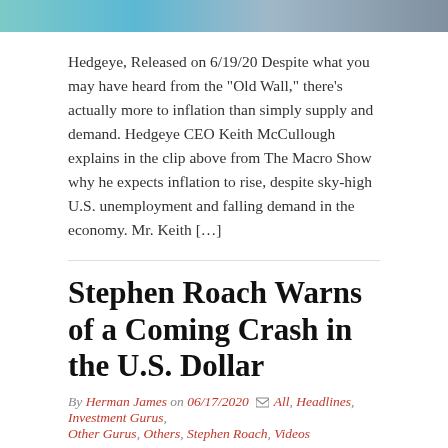[Figure (photo): Top banner photo strip showing a person, partially visible, with colored background.]
Hedgeye, Released on 6/19/20 Despite what you may have heard from the “Old Wall,” there’s actually more to inflation than simply supply and demand. Hedgeye CEO Keith McCullough explains in the clip above from The Macro Show why he expects inflation to rise, despite sky-high U.S. unemployment and falling demand in the economy. Mr. Keith […]
Stephen Roach Warns of a Coming Crash in the U.S. Dollar
By Herman James on 06/17/2020 All, Headlines, Investment Gurus, Other Gurus, Others, Stephen Roach, Videos
[Figure (photo): Yale School of Management branded background with a person's head partially visible.]